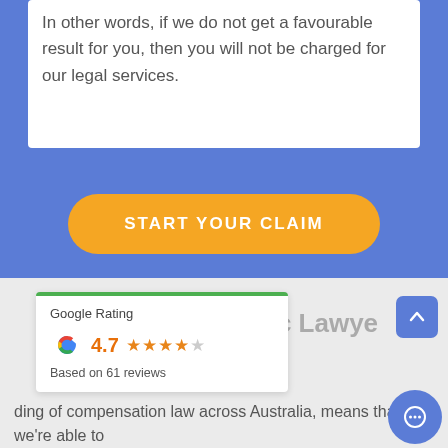In other words, if we do not get a favourable result for you, then you will not be charged for our legal services.
START YOUR CLAIM
[Figure (other): Google Rating card showing 4.7 stars based on 61 reviews, with Google G logo and green top border]
ajic Lawye
ding of compensation law across Australia, means that we're able to